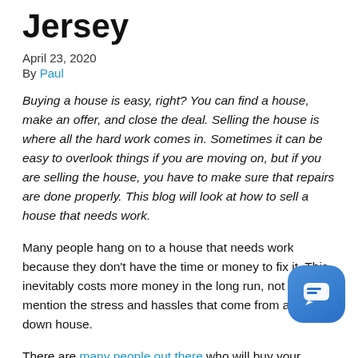Jersey
April 23, 2020
By Paul
Buying a house is easy, right? You can find a house, make an offer, and close the deal. Selling the house is where all the hard work comes in. Sometimes it can be easy to overlook things if you are moving on, but if you are selling the house, you have to make sure that repairs are done properly. This blog will look at how to sell a house that needs work.
Many people hang on to a house that needs work because they don't have the time or money to fix it. This inevitably costs more money in the long run, not to mention the stress and hassles that come from a run-down house.
There are many people out there who will buy your house for a great price, freeing you from the property